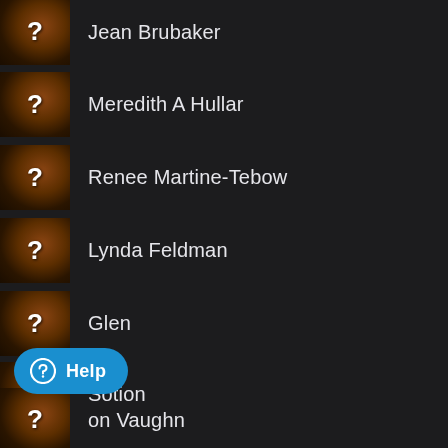Jean Brubaker
Meredith A Hullar
Renee Martine-Tebow
Lynda Feldman
Glen
Sotion
[Figure (screenshot): Help button (chat bubble icon with text Help) in blue rounded rectangle]
on Vaughn